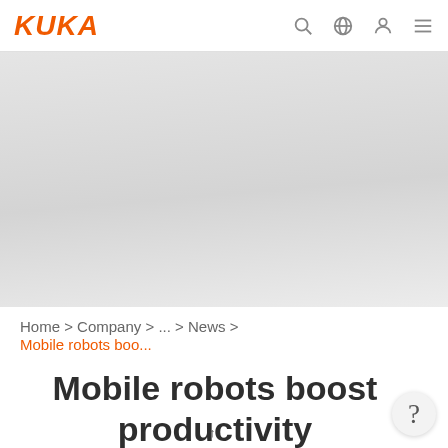KUKA
[Figure (photo): Hero image area showing a large gray/light area, likely a KUKA robot or industrial scene, partially visible at top of page]
Home > Company > ... > News > Mobile robots boo...
Mobile robots boost productivity